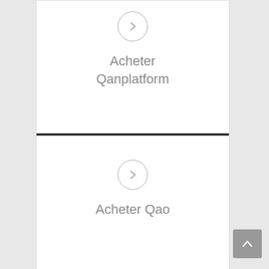[Figure (infographic): Card with circle arrow icon and text Acheter Qanplatform]
Acheter Qanplatform
[Figure (infographic): Card with circle arrow icon and text Acheter Qao]
Acheter Qao